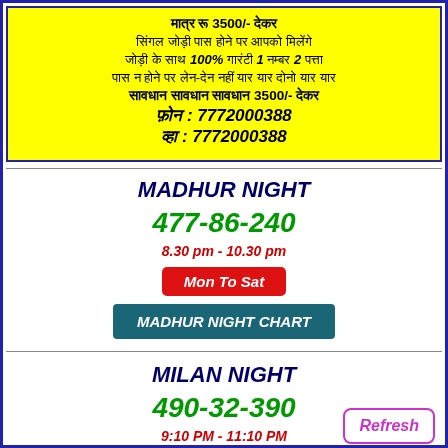Hindi text block with phone numbers 3500/-, 7772000388, 7772000388, 100%, 1, 2, 3500/-
MADHUR NIGHT
477-86-240
8.30 pm - 10.30 pm
Mon To Sat
MADHUR NIGHT CHART
MILAN NIGHT
490-32-390
9:10 PM - 11:10 PM
Refresh